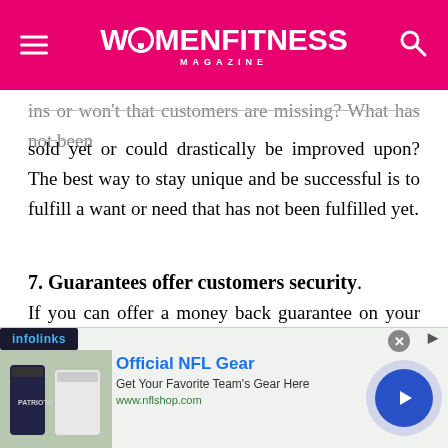WOMENFITNESS MAGAZINE
ins or won't that customers are missing? What has not been sold yet or could drastically be improved upon? The best way to stay unique and be successful is to fulfill a want or need that has not been fulfilled yet.
7. Guarantees offer customers security.
If you can offer a money back guarantee on your products, you're giving the customers serious peace of mind. While this is not something unique, it's still a lot more than many sellers can give people, particularly smaller businesses who sell their items strictly online. By giving peace of mind, you're letting people have the option to back out of a sale later on.
re they won't, but the security in knowing they can g
[Figure (screenshot): Infolinks ad overlay with NFL Gear advertisement showing Official NFL Gear, Get Your Favorite Team's Gear Here, www.nflshop.com with a play button circle]